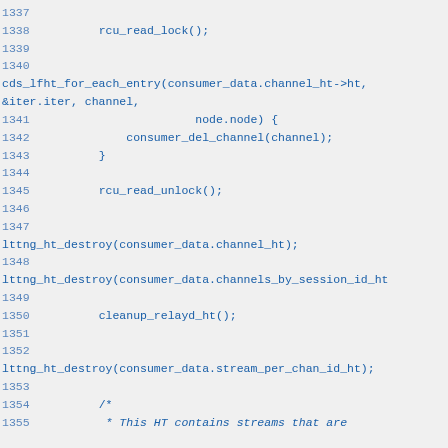Source code fragment showing C code lines 1337-1355 with rcu_read_lock, cds_lfht_for_each_entry, consumer_del_channel, rcu_read_unlock, lttng_ht_destroy calls and cleanup_relayd_ht